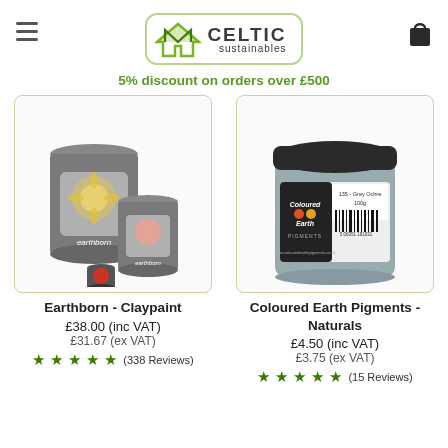Celtic Sustainables — 5% discount on orders over £500
[Figure (photo): Earthborn Claypaint product — two large grey paint tins and one small red tin]
Earthborn - Claypaint
£38.00 (inc VAT)
£31.67 (ex VAT)
★★★★★ (338 Reviews)
[Figure (photo): Coloured Earth Pigments jar — grey pigment powder in a dark-lidded container with label showing 135 - Grey Ochre 100g]
Coloured Earth Pigments - Naturals
£4.50 (inc VAT)
£3.75 (ex VAT)
★★★★★ (15 Reviews)